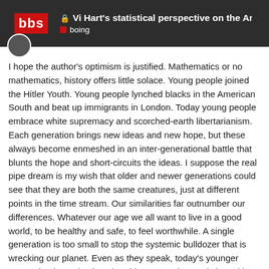Vi Hart's statistical perspective on the Ameri... | boing
I hope the author's optimism is justified. Mathematics or no mathematics, history offers little solace. Young people joined the Hitler Youth. Young people lynched blacks in the American South and beat up immigrants in London. Today young people embrace white supremacy and scorched-earth libertarianism. Each generation brings new ideas and new hope, but these always become enmeshed in an inter-generational battle that blunts the hope and short-circuits the ideas. I suppose the real pipe dream is my wish that older and newer generations could see that they are both the same creatures, just at different points in the time stream. Our similarities far outnumber our differences. Whatever our age we all want to live in a good world, to be healthy and safe, to feel worthwhile. A single generation is too small to stop the systemic bulldozer that is wrecking our planet. Even as they speak, today's younger generation is turning into the older generation. Only by uniting despite our differences, not only across cu... generations, can we gather the strength of
9 / 37